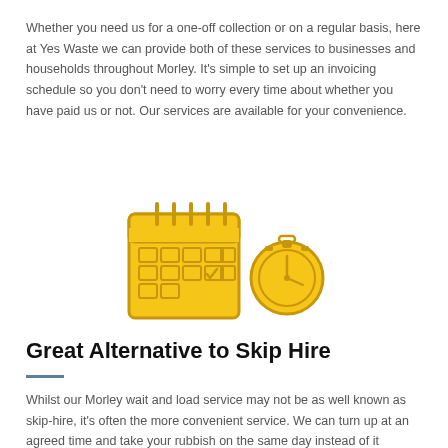Whether you need us for a one-off collection or on a regular basis, here at Yes Waste we can provide both of these services to businesses and households throughout Morley. It's simple to set up an invoicing schedule so you don't need to worry every time about whether you have paid us or not. Our services are available for your convenience.
[Figure (illustration): Two icons: a yellow calendar with checkmark and a yellow stopwatch/pocket watch]
Great Alternative to Skip Hire
Whilst our Morley wait and load service may not be as well known as skip-hire, it's often the more convenient service. We can turn up at an agreed time and take your rubbish on the same day instead of it